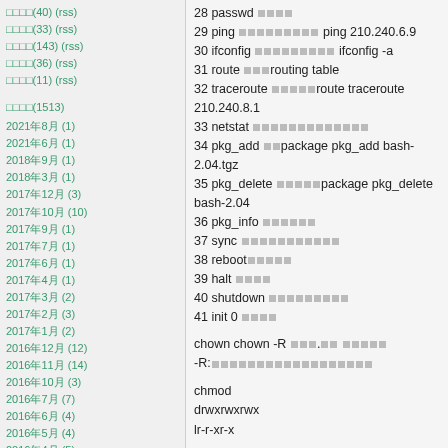□□□□(40) (rss)
□□□□(33) (rss)
□□□□(143) (rss)
□□□□(36) (rss)
□□□□(11) (rss)
□□□□(1513)
2021年8月 (1)
2021年6月 (1)
2018年9月 (1)
2018年3月 (1)
2017年12月 (3)
2017年10月 (10)
2017年9月 (1)
2017年7月 (1)
2017年6月 (1)
2017年4月 (1)
2017年3月 (2)
2017年2月 (3)
2017年1月 (2)
2016年12月 (12)
2016年11月 (14)
2016年10月 (3)
2016年7月 (7)
2016年6月 (4)
2016年5月 (4)
2016年4月 (5)
2016年3月 (2)
2016年2月 (14)
2016年1月 (10)
2015年11月 (22)
2015年10月 (6)
2015年7月 (6)
2015年6月 (4)
2015年5月 (1)
2015年4月 (2)
2015年1月 (6)
28 passwd □□□□
29 ping □□□□□□□□□ ping 210.240.6.9
30 ifconfig □□□□□□□□□ ifconfig -a
31 route □□□routing table
32 traceroute □□□□□route traceroute 210.240.8.1
33 netstat □□□□□□□□□□□□□
34 pkg_add □□package pkg_add bash-2.04.tgz
35 pkg_delete □□□□□package pkg_delete bash-2.04
36 pkg_info □□□□□□
37 sync □□□□□□□□□□□
38 reboot□□□□□
39 halt □□□□
40 shutdown □□□□□□□□□
41 init 0 □□□□
chown chown -R □□□.□□ □□□□□ -R:□□□□□□□□□□□□□□□□□□
chmod
drwxrwxrwx
lr-r-xr-x